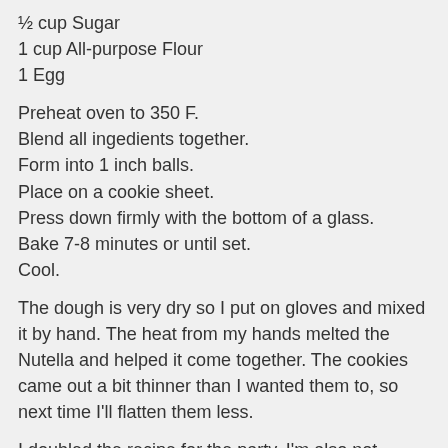½ cup Sugar
1 cup All-purpose Flour
1 Egg
Preheat oven to 350 F.
Blend all ingedients together.
Form into 1 inch balls.
Place on a cookie sheet.
Press down firmly with the bottom of a glass.
Bake 7-8 minutes or until set.
Cool.
The dough is very dry so I put on gloves and mixed it by hand. The heat from my hands melted the Nutella and helped it come together. The cookies came out a bit thinner than I wanted them to, so next time I'll flatten them less.
I doubled the recipe for the party. I'm also not posting this until 7 pm because the party is at 7:30 so no one can steal my recipe :)
UPDATE!!!